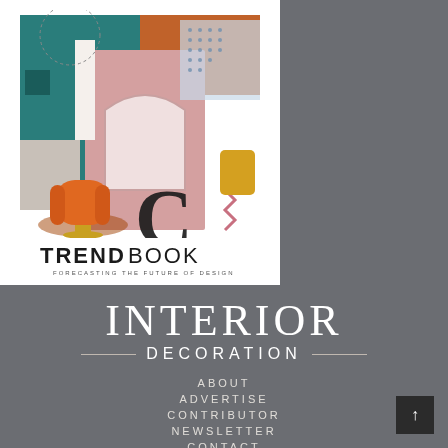[Figure (illustration): Trendbook magazine cover collage with interior design elements including an orange chair, pink archway, teal backgrounds, geometric shapes, and the letter C. Below the collage is the text TRENDBOOK in bold and 'FORECASTING THE FUTURE OF DESIGN' in small caps.]
INTERIOR
DECORATION
ABOUT
ADVERTISE
CONTRIBUTOR
NEWSLETTER
CONTACT
POLICY PRIVACY